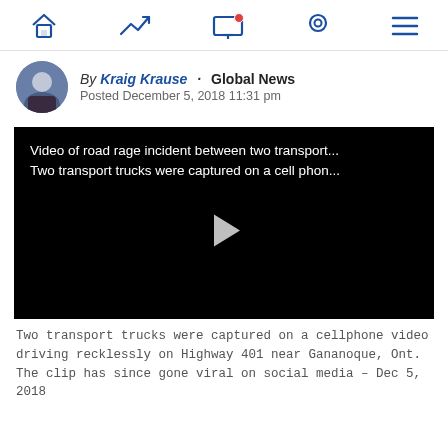Navigation bar with home, trending, notifications, location, and menu icons
By Kraig Krause · Global News
Posted December 5, 2018 11:31 pm
[Figure (screenshot): Black video player thumbnail with white overlay text: 'Video of road rage incident between two transport... Two transport trucks were captured on a cell phon...' and a play button triangle in the center]
Two transport trucks were captured on a cellphone video driving recklessly on Highway 401 near Gananoque, Ont. The clip has since gone viral on social media – Dec 5, 2018